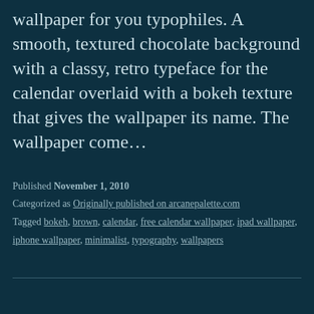wallpaper for you typophiles. A smooth, textured chocolate background with a classy, retro typeface for the calendar overlaid with a bokeh texture that gives the wallpaper its name. The wallpaper come…
Published November 1, 2010
Categorized as Originally published on arcanepalette.com
Tagged bokeh, brown, calendar, free calendar wallpaper, ipad wallpaper, iphone wallpaper, minimalist, typography, wallpapers